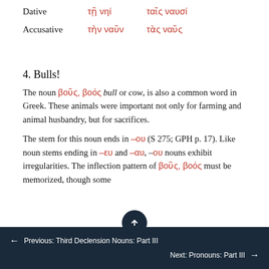| Case | Singular | Plural |
| --- | --- | --- |
| Dative | τῇ νηί | ταῖς ναυσί |
| Accusative | τὴν ναῦν | τὰς ναῦς |
4. Bulls!
The noun βοῦς, βοός bull or cow, is also a common word in Greek. These animals were important not only for farming and animal husbandry, but for sacrifices.
The stem for this noun ends in –ου (S 275; GPH p. 17). Like noun stems ending in –ευ and –αυ, –ου nouns exhibit irregularities. The inflection pattern of βοῦς, βοός must be memorized, though some
← Previous: Third Declension Nouns: Part III      Next: Pronouns: Part III →